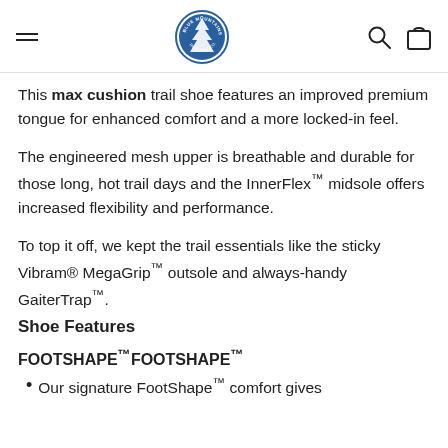[hamburger menu] [Blue Mountains Running Co logo] [search icon] [cart icon]
This max cushion trail shoe features an improved premium tongue for enhanced comfort and a more locked-in feel.
The engineered mesh upper is breathable and durable for those long, hot trail days and the InnerFlex™ midsole offers increased flexibility and performance.
To top it off, we kept the trail essentials like the sticky Vibram® MegaGrip™ outsole and always-handy GaiterTrap™.
Shoe Features
FOOTSHAPE™FOOTSHAPE™
Our signature FootShape™ comfort gives